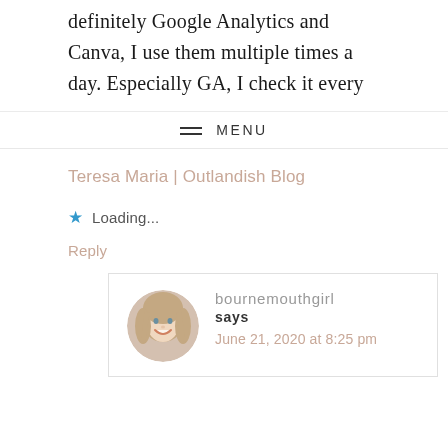definitely Google Analytics and Canva, I use them multiple times a day. Especially GA, I check it every
MENU
Teresa Maria | Outlandish Blog
★ Loading...
Reply
bournemouthgirl says June 21, 2020 at 8:25 pm